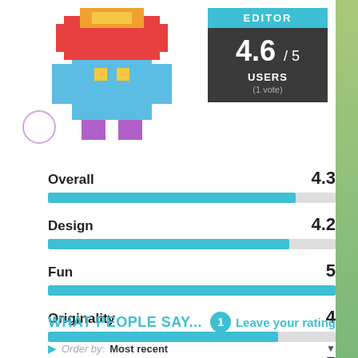[Figure (illustration): Pixel art game character (space invader style) in blue overalls with red/orange/yellow head]
[Figure (infographic): Dark box showing EDITOR label at top in teal, score 4.6/5, USERS label, (1 vote) below]
[Figure (bar-chart): Ratings]
WHAT PEOPLE SAY... 1
Leave your rating
Order by: Most recent